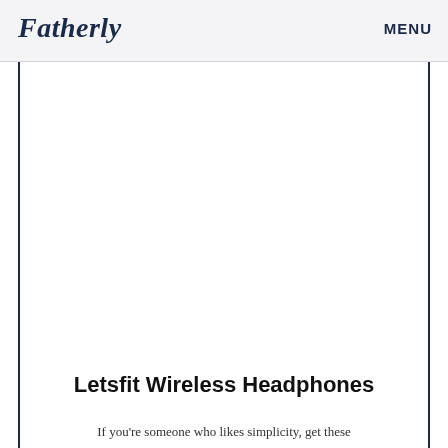Fatherly    MENU
[Figure (photo): Letsfit wireless sport earphones with ear hooks, coral pink and dark gray color, cables looping down, white background product photo]
Letsfit Wireless Headphones
If you're someone who likes simplicity, get these